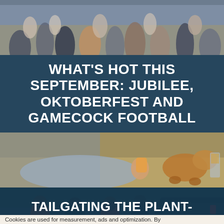[Figure (photo): Crowd of people outdoors at an event, seen from above/distance]
WHAT'S HOT THIS SEPTEMBER: JUBILEE, OKTOBERFEST AND GAMECOCK FOOTBALL
[Figure (photo): Close-up of person holding a drink with a dog visible in the background outdoors]
[Figure (photo): Group of people tailgating outdoors near vehicles]
TAILGATING THE PLANT-BASED WAY IN COLUMBIA SC
Cookies are used for measurement, ads and optimization. By